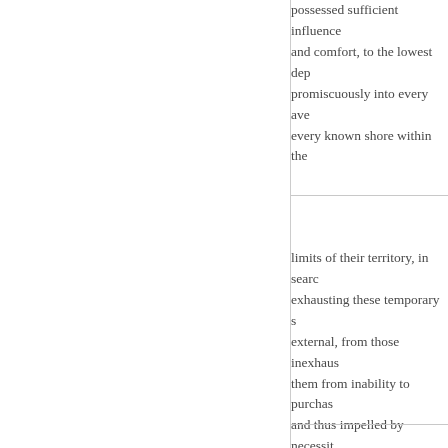possessed sufficient influence and comfort, to the lowest dep promiscuously into every ave every known shore within the
limits of their territory, in sear exhausting these temporary s external, from those inexhaus them from inability to purchas and thus impelled by necessi which under a well regulated notwithstanding these vigoro at length stripped of their lan rendering themselves master few years longer, will be virtu and the vile. He
will be... that while th